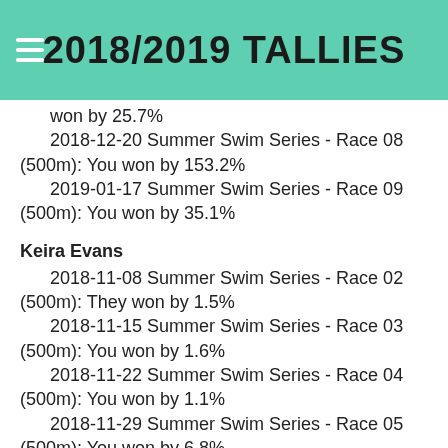2018/2019 TALLIES
won by 25.7%
2018-12-20 Summer Swim Series - Race 08 (500m): You won by 153.2%
2019-01-17 Summer Swim Series - Race 09 (500m): You won by 35.1%
Keira Evans
2018-11-08 Summer Swim Series - Race 02 (500m): They won by 1.5%
2018-11-15 Summer Swim Series - Race 03 (500m): You won by 1.6%
2018-11-22 Summer Swim Series - Race 04 (500m): You won by 1.1%
2018-11-29 Summer Swim Series - Race 05 (500m): You won by 6.8%
2018-12-06 Summer Swim Series - Race 06 (500m): You won by 3.3%
2018-12-13 Summer Swim Series - Race 07 (500m): You won by 4.4%
2018-12-20 Summer Swim Series - Race 08 (500m): They won by 19.8%
Scott Houghton
2018-11-08 Summer Swim Series - Race 02 (500m):